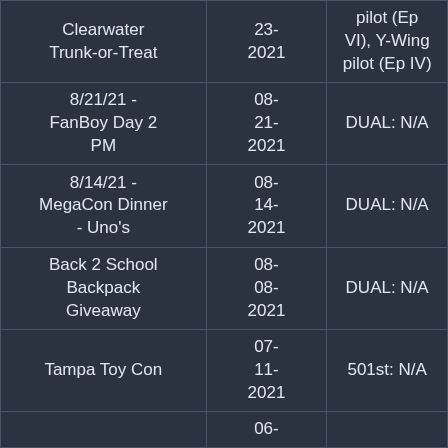| Event | Date | Costume |
| --- | --- | --- |
| Clearwater Trunk-or-Treat | 10-23-2021 | pilot (Ep VI), Y-Wing pilot (Ep IV) |
| 8/21/21 - FanBoy Day 2 PM | 08-21-2021 | DUAL: N/A |
| 8/14/21 - MegaCon Dinner - Uno's | 08-14-2021 | DUAL: N/A |
| Back 2 School Backpack Giveaway | 08-08-2021 | DUAL: N/A |
| Tampa Toy Con | 07-11-2021 | 501st: N/A |
|  | 06- |  |